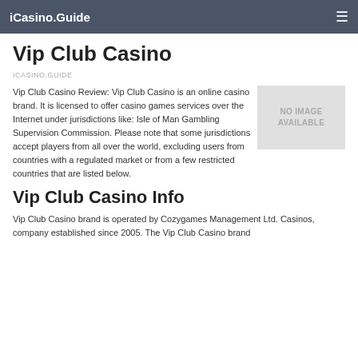iCasino.Guide
Vip Club Casino
ICASINO.GUIDE
Vip Club Casino Review: Vip Club Casino is an online casino brand. It is licensed to offer casino games services over the Internet under jurisdictions like: Isle of Man Gambling Supervision Commission. Please note that some jurisdictions accept players from all over the world, excluding users from countries with a regulated market or from a few restricted countries that are listed below.
[Figure (other): No image available placeholder box]
Vip Club Casino Info
Vip Club Casino brand is operated by Cozygames Management Ltd. Casinos, company established since 2005. The Vip Club Casino brand